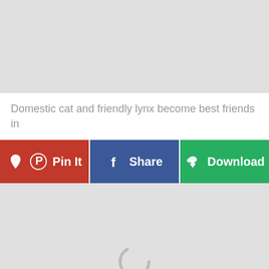[Figure (photo): Top placeholder image area, light gray background]
Domestic cat and friendly lynx become best friends in
[Figure (infographic): Three social sharing buttons: Pin It (red, Pinterest), Share (blue, Facebook), Download (green, cloud download icon)]
[Figure (photo): Bottom placeholder image area, light gray background with loading spinner]